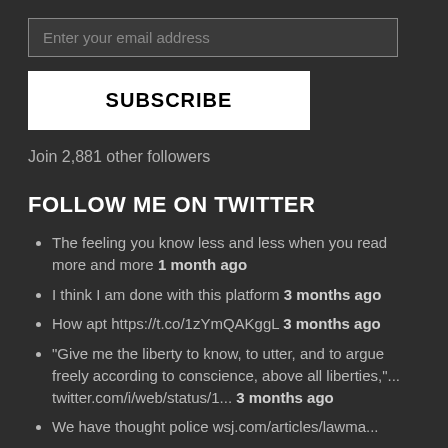Enter your email address
SUBSCRIBE
Join 2,881 other followers
FOLLOW ME ON TWITTER
The feeling you know less and less when you read more and more 1 month ago
I think I am done with this platform 3 months ago
How apt https://t.co/1zYmQAKggL 3 months ago
"Give me the liberty to know, to utter, and to argue freely according to conscience, above all liberties,"... twitter.com/i/web/status/1... 3 months ago
We have thought police wsj.com/articles/lawma...